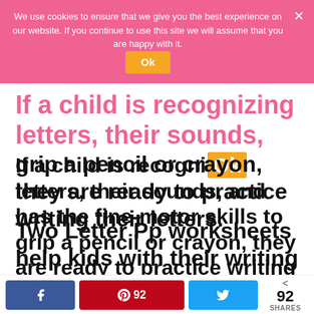[Figure (screenshot): Cookie consent banner overlay with pink background, text: 'We use cookies to ensure that we give you the best experience on our website. If you continue to use this site we will assume that you are happy with it.' with an orange Ok button and white X close icon]
If a child is recognizing letters, their sounds, and has the fine-motor skills to grip a pencil or crayon, they are ready to practice writing their letters.
Two Letter Pp worksheets help kids with their writing skills.
The first one teaches them how to form
[Figure (screenshot): Social share bar with Facebook button, Pinterest button showing 92 shares, Twitter button, and a shares count showing < 92 SHARES]